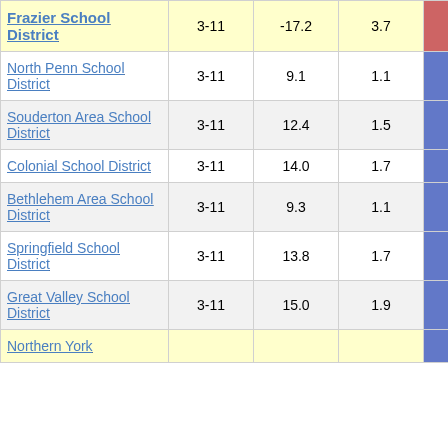| District | Grades | Col3 | Col4 | Score | Extra |
| --- | --- | --- | --- | --- | --- |
| Frazier School District | 3-11 | -17.2 | 3.7 | -4.70 | 3 |
| North Penn School District | 3-11 | 9.1 | 1.1 | 8.36 |  |
| Souderton Area School District | 3-11 | 12.4 | 1.5 | 8.28 |  |
| Colonial School District | 3-11 | 14.0 | 1.7 | 8.21 |  |
| Bethlehem Area School District | 3-11 | 9.3 | 1.1 | 8.15 |  |
| Springfield School District | 3-11 | 13.8 | 1.7 | 7.99 |  |
| Great Valley School District | 3-11 | 15.0 | 1.9 | 7.98 |  |
| Northern York |  |  |  |  |  |